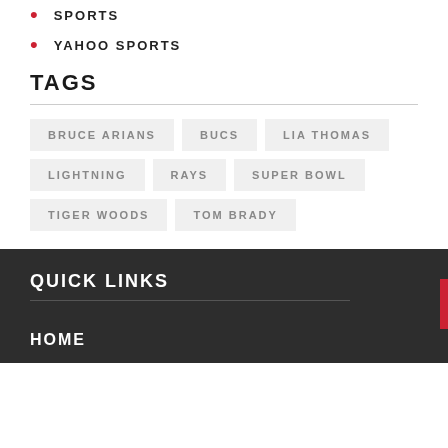SPORTS
YAHOO SPORTS
TAGS
BRUCE ARIANS · BUCS · LIA THOMAS · LIGHTNING · RAYS · SUPER BOWL · TIGER WOODS · TOM BRADY
QUICK LINKS
HOME